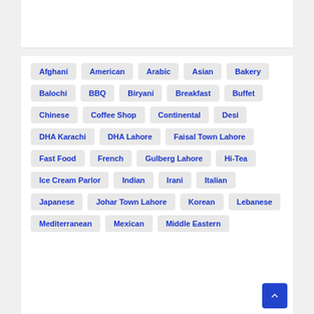Afghani, American, Arabic, Asian, Bakery, Balochi, BBQ, Biryani, Breakfast, Buffet, Chinese, Coffee Shop, Continental, Desi, DHA Karachi, DHA Lahore, Faisal Town Lahore, Fast Food, French, Gulberg Lahore, Hi-Tea, Ice Cream Parlor, Indian, Irani, Italian, Japanese, Johar Town Lahore, Korean, Lebanese, Mediterranean, Mexican, Middle Eastern